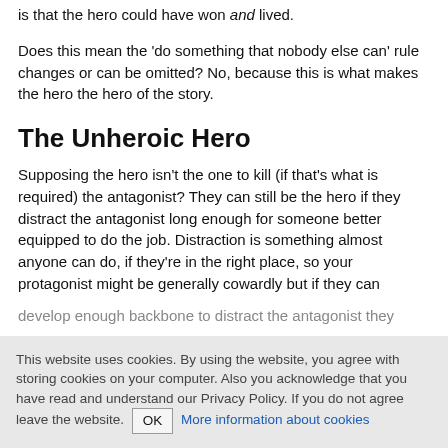is that the hero could have won and lived.
Does this mean the 'do something that nobody else can' rule changes or can be omitted? No, because this is what makes the hero the hero of the story.
The Unheroic Hero
Supposing the hero isn't the one to kill (if that's what is required) the antagonist? They can still be the hero if they distract the antagonist long enough for someone better equipped to do the job. Distraction is something almost anyone can do, if they're in the right place, so your protagonist might be generally cowardly but if they can develop enough backbone to distract the antagonist they...
This website uses cookies. By using the website, you agree with storing cookies on your computer. Also you acknowledge that you have read and understand our Privacy Policy. If you do not agree leave the website. OK More information about cookies